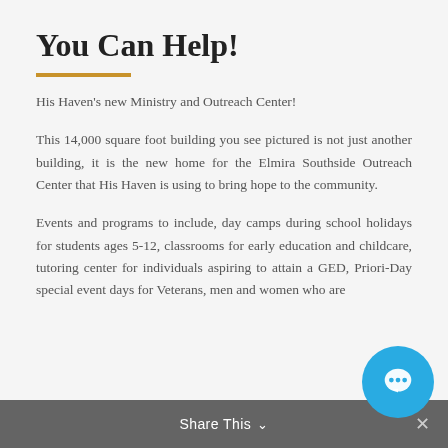You Can Help!
His Haven's new Ministry and Outreach Center!
This 14,000 square foot building you see pictured is not just another building, it is the new home for the Elmira Southside Outreach Center that His Haven is using to bring hope to the community.
Events and programs to include, day camps during school holidays for students ages 5-12, classrooms for early education and childcare, tutoring center for individuals aspiring to attain a GED, Priori-Day special event days for Veterans, men and women who are
Share This ∨  ×